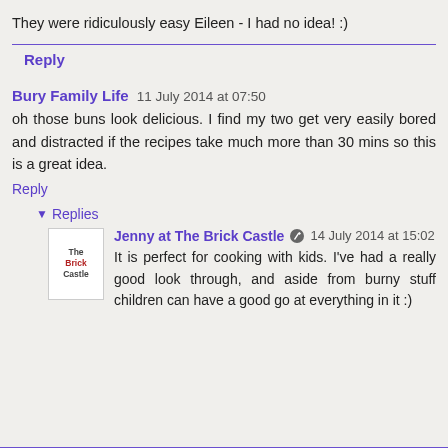They were ridiculously easy Eileen - I had no idea! :)
Reply
Bury Family Life  11 July 2014 at 07:50
oh those buns look delicious. I find my two get very easily bored and distracted if the recipes take much more than 30 mins so this is a great idea.
Reply
Replies
Jenny at The Brick Castle  14 July 2014 at 15:02
It is perfect for cooking with kids. I've had a really good look through, and aside from burny stuff children can have a good go at everything in it :)